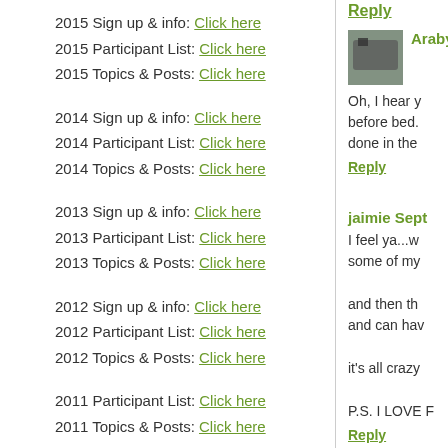2015 Sign up & info: Click here
2015 Participant List: Click here
2015 Topics & Posts: Click here
2014 Sign up & info: Click here
2014 Participant List: Click here
2014 Topics & Posts: Click here
2013 Sign up & info: Click here
2013 Participant List: Click here
2013 Topics & Posts: Click here
2012 Sign up & info: Click here
2012 Participant List: Click here
2012 Topics & Posts: Click here
2011 Participant List: Click here
2011 Topics & Posts: Click here
Reply
Araby62 (a.k...
Oh, I hear y before bed. done in the
Reply
jaimie Sept
I feel ya...w some of my
and then th and can hav
it's all crazy
P.S. I LOVE F
Reply